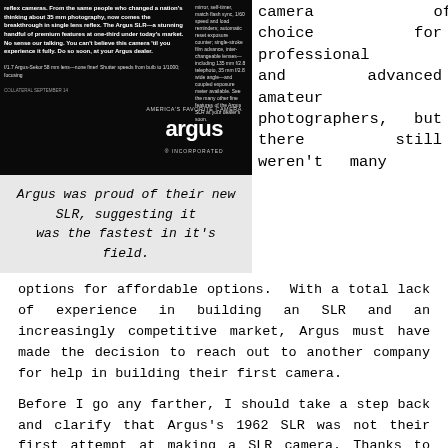[Figure (photo): Black and white Argus SLR camera advertisement with text and Argus Incorporated logo on dark background]
Argus was proud of their new SLR, suggesting it was the fastest in it's field.
camera of choice for professional and advanced amateur photographers, but there still weren't many options for affordable options.  With a total lack of experience in building an SLR and an increasingly competitive market, Argus must have made the decision to reach out to another company for help in building their first camera.
Before I go any farther, I should take a step back and clarify that Argus's 1962 SLR was not their first attempt at making a SLR camera.  Thanks to some incredibly detailed research by Phil Sterritt, Ron Norwood, Bob Kelly, and Mike Reitsma, I was able to learn from a 2001 interview between Phil and Bill Patton, an Argus design engineer that development of an Argus SLR began in Stuttgart,